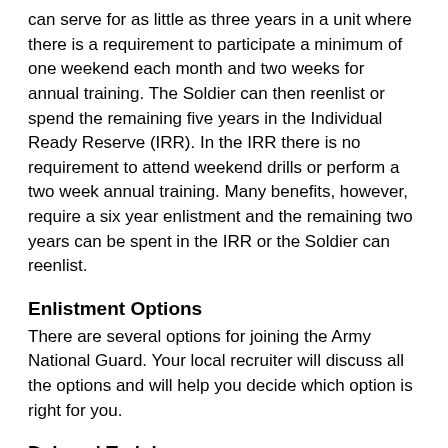can serve for as little as three years in a unit where there is a requirement to participate a minimum of one weekend each month and two weeks for annual training. The Soldier can then reenlist or spend the remaining five years in the Individual Ready Reserve (IRR). In the IRR there is no requirement to attend weekend drills or perform a two week annual training. Many benefits, however, require a six year enlistment and the remaining two years can be spent in the IRR or the Soldier can reenlist.
Enlistment Options
There are several options for joining the Army National Guard. Your local recruiter will discuss all the options and will help you decide which option is right for you.
Delayed Training
One option is to join the Army National Guard and delay your reporting date for Basic Combat Training. As a high school junior, you can delay your reporting date until after you complete your junior year academic requirements. High school seniors and college students can receive a delay of up to 365 days from enlistment to reporting for Basic Combat Training. Those who